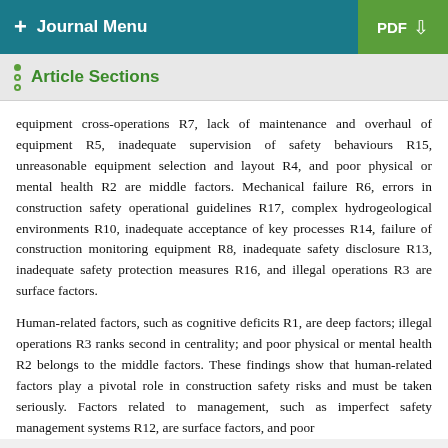+ Journal Menu   PDF ↓
Article Sections
equipment cross-operations R7, lack of maintenance and overhaul of equipment R5, inadequate supervision of safety behaviours R15, unreasonable equipment selection and layout R4, and poor physical or mental health R2 are middle factors. Mechanical failure R6, errors in construction safety operational guidelines R17, complex hydrogeological environments R10, inadequate acceptance of key processes R14, failure of construction monitoring equipment R8, inadequate safety disclosure R13, inadequate safety protection measures R16, and illegal operations R3 are surface factors.
Human-related factors, such as cognitive deficits R1, are deep factors; illegal operations R3 ranks second in centrality; and poor physical or mental health R2 belongs to the middle factors. These findings show that human-related factors play a pivotal role in construction safety risks and must be taken seriously. Factors related to management, such as imperfect safety management systems R12, are surface factors, and poor